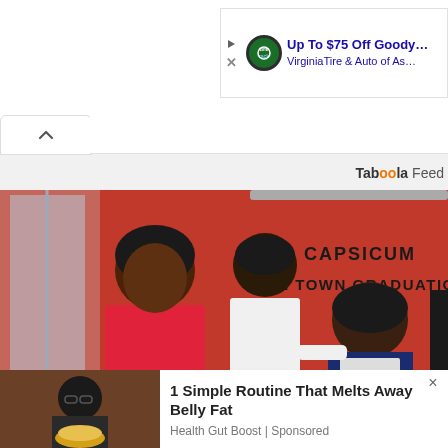[Figure (screenshot): Advertisement banner: Up To $75 Off Goody... VirginiaTire & Auto of As... with circular green logo]
[Figure (screenshot): Collapse/chevron up button on white tab, with white header background]
Taboola Feed
[Figure (photo): Photo of three people posing in front of a red banner reading CAPSICUM CAPE TOWN GRADUATION 2014. A woman in a red jacket on the left, a man in a white chef's coat in the center, and an older woman in a blue and white outfit on the right.]
[Figure (photo): Thumbnail image of a man wearing glasses and a patterned shirt, holding a bowl of food, with a dark background.]
1 Simple Routine That Melts Away Belly Fat
Health Gut Boost | Sponsored